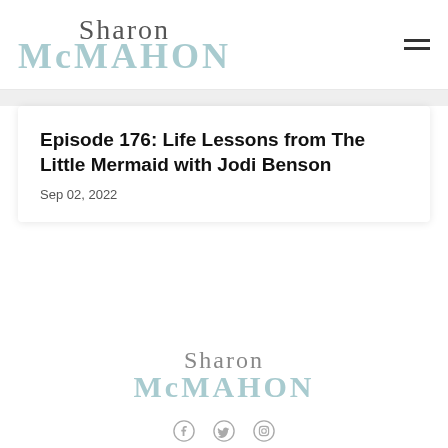Sharon McMahon
Episode 176: Life Lessons from The Little Mermaid with Jodi Benson
Sep 02, 2022
[Figure (logo): Sharon McMahon logo in footer]
[Figure (other): Social media icons: Facebook, Twitter, Instagram]